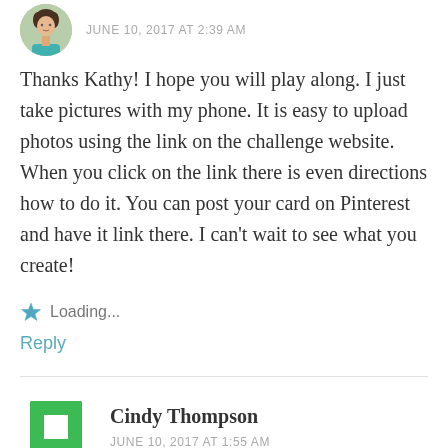JUNE 10, 2017 AT 2:39 AM
Thanks Kathy! I hope you will play along. I just take pictures with my phone. It is easy to upload photos using the link on the challenge website. When you click on the link there is even directions how to do it. You can post your card on Pinterest and have it link there. I can't wait to see what you create!
Loading...
Reply
Cindy Thompson
JUNE 10, 2017 AT 1:55 AM